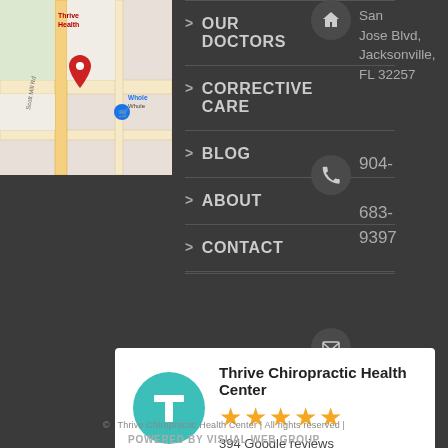[Figure (map): Google Maps screenshot showing location of Thrive Health with red pin marker and Whole Foods nearby, Jacksonville FL area]
> OUR DOCTORS
> CORRECTIVE CARE
> BLOG
> ABOUT
> CONTACT
San Jose Blvd, Jacksonville, FL 32257
904-683-9397
info@thrivechirohe
Thrive Chiropractic Health Center
★★★★★
394 Google reviews
© Thrive Chiropractic Health Center | All rights reserved | POWERED BY VISUAL WEB GROUP